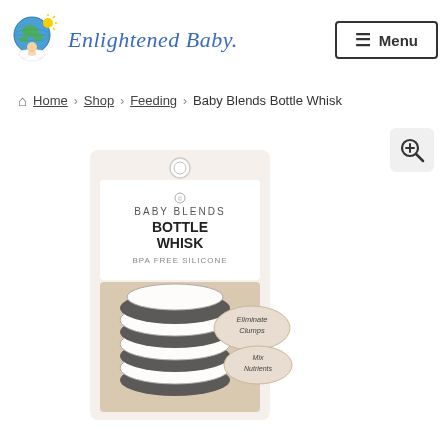[Figure (logo): Enlightened Baby logo with globe/baby illustration and cursive text]
[Figure (other): Menu button with hamburger icon]
Home › Shop › Feeding › Baby Blends Bottle Whisk
[Figure (photo): Baby Blends Bottle Whisk product packaging showing BABY BLENDS BOTTLE WHISK BPA FREE SILICONE with labels Eliminate Clumps and Mix Nutrients, showing white silicone whisk product inside packaging]
[Figure (other): Zoom/magnify button icon in top right of product image area]